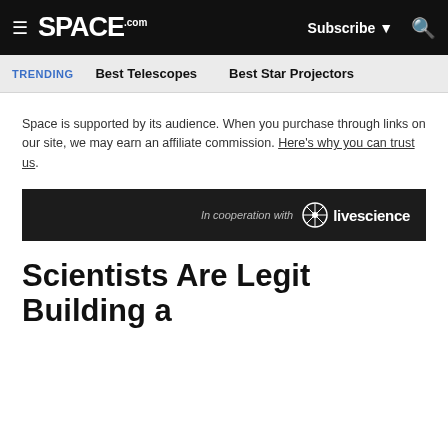SPACE.com | Subscribe | Search
TRENDING  Best Telescopes  Best Star Projectors
Space is supported by its audience. When you purchase through links on our site, we may earn an affiliate commission. Here's why you can trust us.
[Figure (logo): In cooperation with livescience banner]
Scientists Are Legit Building a